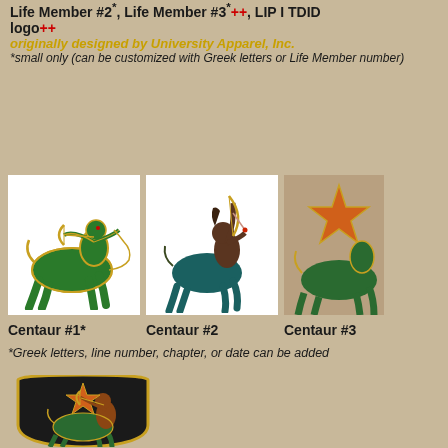Life Member #2*, Life Member #3*++, LIP I TDID logo++
originally designed by University Apparel, Inc.
*small only (can be customized with Greek letters or Life Member number)
[Figure (illustration): Green centaur archer embroidered patch on white background - Centaur #1]
[Figure (illustration): Dark brown and green centaur archer embroidered patch on white background - Centaur #2]
[Figure (illustration): Partial view of orange star and green centaur patch - Centaur #3]
Centaur #1*
Centaur #2
Centaur #3
*Greek letters, line number, chapter, or date can be added
[Figure (illustration): Black shield-shaped patch with green and gold centaur archer and orange star]